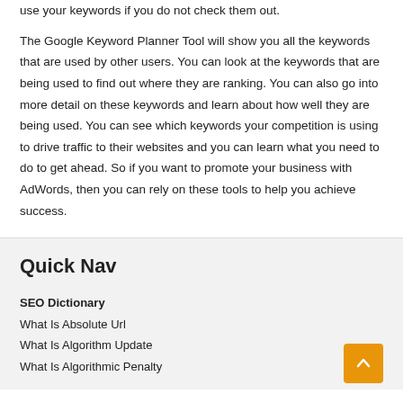use your keywords if you do not check them out.

The Google Keyword Planner Tool will show you all the keywords that are used by other users. You can look at the keywords that are being used to find out where they are ranking. You can also go into more detail on these keywords and learn about how well they are being used. You can see which keywords your competition is using to drive traffic to their websites and you can learn what you need to do to get ahead. So if you want to promote your business with AdWords, then you can rely on these tools to help you achieve success.
Quick Nav
SEO Dictionary
What Is Absolute Url
What Is Algorithm Update
What Is Algorithmic Penalty